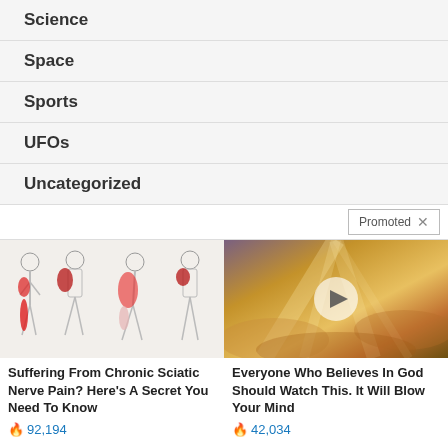Science
Space
Sports
UFOs
Uncategorized
Promoted ×
[Figure (illustration): Medical illustration showing four standing human figures with red highlighted areas indicating sciatic nerve pain along the leg, hip and lower back regions]
Suffering From Chronic Sciatic Nerve Pain? Here's A Secret You Need To Know
🔥 92,194
[Figure (photo): Dramatic sky with golden clouds and light rays, with a circular play button overlay indicating a video]
Everyone Who Believes In God Should Watch This. It Will Blow Your Mind
🔥 42,034